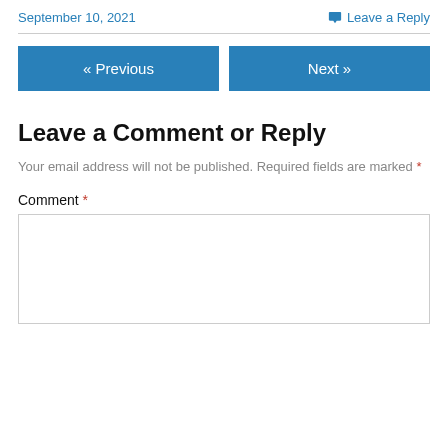September 10, 2021
Leave a Reply
« Previous
Next »
Leave a Comment or Reply
Your email address will not be published. Required fields are marked *
Comment *